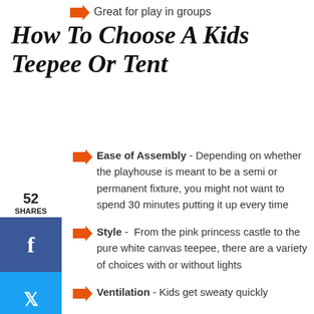Great for play in groups
How To Choose A Kids Teepee Or Tent
Ease of Assembly - Depending on whether the playhouse is meant to be a semi or permanent fixture, you might not want to spend 30 minutes putting it up every time
Style - From the pink princess castle to the pure white canvas teepee, there are a variety of choices with or without lights
Ventilation - Kids get sweaty quickly